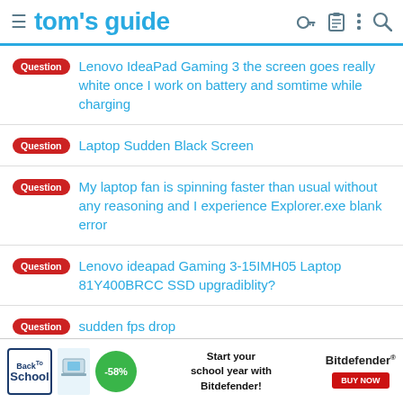tom's guide
Question  Lenovo IdeaPad Gaming 3 the screen goes really white once I work on battery and somtime while charging
Question  Laptop Sudden Black Screen
Question  My laptop fan is spinning faster than usual without any reasoning and I experience Explorer.exe blank error
Question  Lenovo ideapad Gaming 3-15IMH05 Laptop 81Y400BRCC SSD upgradiblity?
Question  sudden fps drop
LENOVO Ideapad 330: Power button display font...
[Figure (screenshot): Bitdefender Back to School advertisement banner with -58% discount and 'Start your school year with Bitdefender!' text and BUY NOW button]